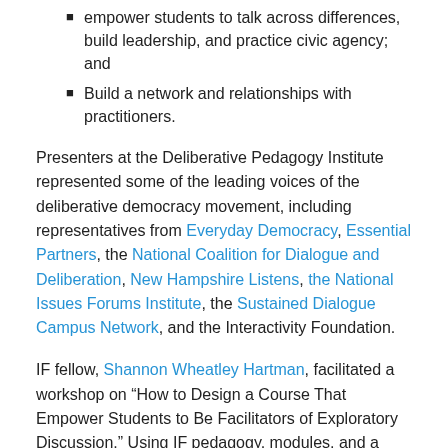empower students to talk across differences, build leadership, and practice civic agency; and
Build a network and relationships with practitioners.
Presenters at the Deliberative Pedagogy Institute represented some of the leading voices of the deliberative democracy movement, including representatives from Everyday Democracy, Essential Partners, the National Coalition for Dialogue and Deliberation, New Hampshire Listens, the National Issues Forums Institute, the Sustained Dialogue Campus Network, and the Interactivity Foundation.
IF fellow, Shannon Wheatley Hartman, facilitated a workshop on “How to Design a Course That Empower Students to Be Facilitators of Exploratory Discussion.” Using IF pedagogy, modules, and a Facilitation Workbook, participants explored how best to incorporate student facilitation into the classroom and “level up” skills and capacity to then organize campus-wide and community-based exploratory discussions. To learn more about IF educational approaches and materials, please contact